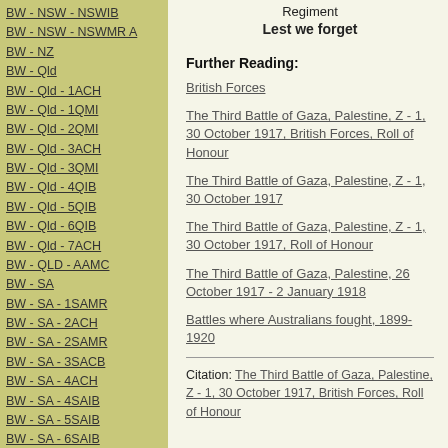BW - NSW - NSWIB
BW - NSW - NSWMR  A
BW - NZ
BW - Qld
BW - Qld - 1ACH
BW - Qld - 1QMI
BW - Qld - 2QMI
BW - Qld - 3ACH
BW - Qld - 3QMI
BW - Qld - 4QIB
BW - Qld - 5QIB
BW - Qld - 6QIB
BW - Qld - 7ACH
BW - QLD - AAMC
BW - SA
BW - SA - 1SAMR
BW - SA - 2ACH
BW - SA - 2SAMR
BW - SA - 3SACB
BW - SA - 4ACH
BW - SA - 4SAIB
BW - SA - 5SAIB
BW - SA - 6SAIB
BW - SA - 8ACH
BW - SA - AAMC
BW - Tas
BW - Tas - 1ACH
BW - Tas - 1TIB
Regiment
Lest we forget
Further Reading:
British Forces
The Third Battle of Gaza, Palestine, Z - 1, 30 October 1917, British Forces, Roll of Honour
The Third Battle of Gaza, Palestine, Z - 1, 30 October 1917
The Third Battle of Gaza, Palestine, Z - 1, 30 October 1917, Roll of Honour
The Third Battle of Gaza, Palestine, 26 October 1917 - 2 January 1918
Battles where Australians fought, 1899-1920
Citation: The Third Battle of Gaza, Palestine, Z - 1, 30 October 1917, British Forces, Roll of Honour